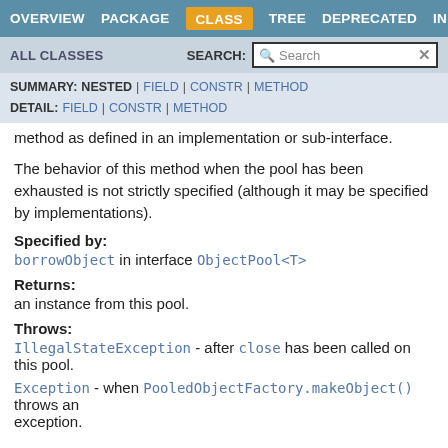OVERVIEW  PACKAGE  CLASS  TREE  DEPRECATED  INDEX
ALL CLASSES   SEARCH: [Search]
SUMMARY: NESTED | FIELD | CONSTR | METHOD  DETAIL: FIELD | CONSTR | METHOD
method as defined in an implementation or sub-interface.
The behavior of this method when the pool has been exhausted is not strictly specified (although it may be specified by implementations).
Specified by:
borrowObject in interface ObjectPool<T>
Returns:
an instance from this pool.
Throws:
IllegalStateException - after close has been called on this pool.
Exception - when PooledObjectFactory.makeObject() throws an exception.